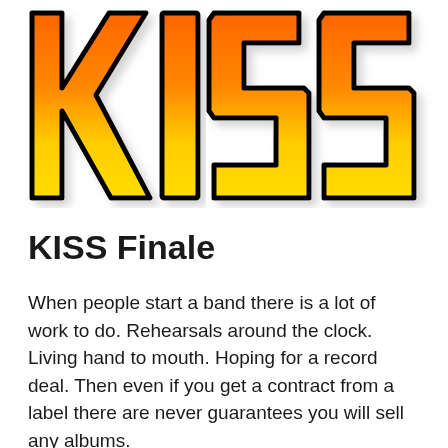[Figure (logo): KISS band logo with large stylized letters K, I, S, S in orange-to-yellow gradient with black outline and drop shadow on white background]
KISS Finale
When people start a band there is a lot of work to do. Rehearsals around the clock. Living hand to mouth. Hoping for a record deal. Then even if you get a contract from a label there are never guarantees you will sell any albums.
This is my essay on my favorite American metal